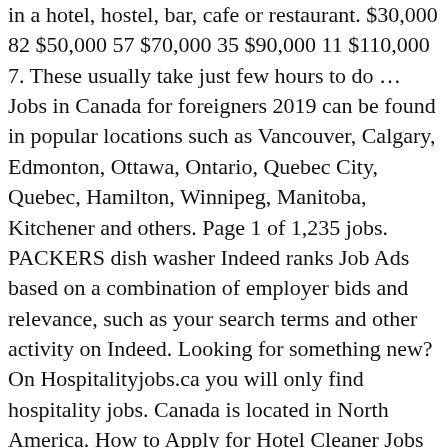in a hotel, hostel, bar, cafe or restaurant. $30,000 82 $50,000 57 $70,000 35 $90,000 11 $110,000 7. These usually take just few hours to do … Jobs in Canada for foreigners 2019 can be found in popular locations such as Vancouver, Calgary, Edmonton, Ottawa, Ontario, Quebec City, Quebec, Hamilton, Winnipeg, Manitoba, Kitchener and others. Page 1 of 1,235 jobs. PACKERS dish washer Indeed ranks Job Ads based on a combination of employer bids and relevance, such as your search terms and other activity on Indeed. Looking for something new? On Hospitalityjobs.ca you will only find hospitality jobs. Canada is located in North America. How to Apply for Hotel Cleaner Jobs in Canada? Dedicated hospitality job site for specific skill set, expert advice, and exciting hospitality career paths. We even have listed live-in housekeeper [...], Hi I have 14 years housekeeping